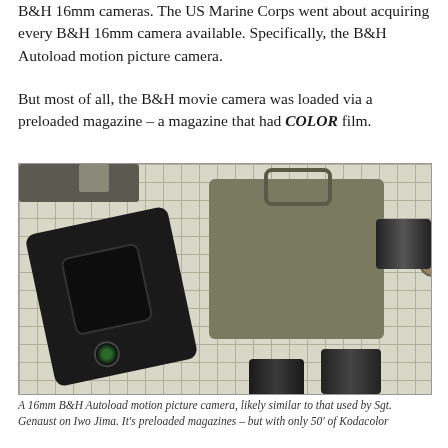B&H 16mm cameras. The US Marine Corps went about acquiring every B&H 16mm camera available. Specifically, the B&H Autoload motion picture camera.
But most of all, the B&H movie camera was loaded via a preloaded magazine – a magazine that had COLOR film.
[Figure (photo): Photograph of a 16mm B&H Autoload motion picture camera components laid out on a grid paper background. On the left is a black camera body with lens. In the center-right is the olive/khaki metal camera body with handle, knob and lever. Lens accessories are visible on the right and bottom.]
A 16mm B&H Autoload motion picture camera, likely similar to that used by Sgt. Genaust on Iwo Jima. It's preloaded magazines – but with only 50' of Kodacolor